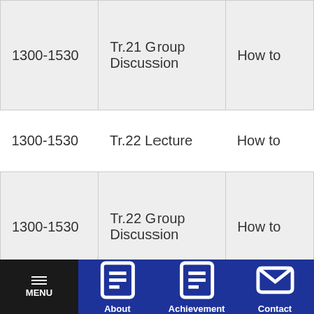| Time | Course | Topic |
| --- | --- | --- |
| 1300-1530 | Tr.21 Group Discussion | How to |
| 1300-1530 | Tr.22 Lecture | How to |
| 1300-1530 | Tr.22 Group Discussion | How to |
MENU | About | Achievement | Contact